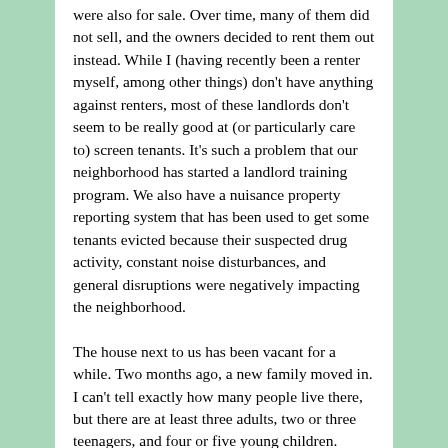were also for sale. Over time, many of them did not sell, and the owners decided to rent them out instead. While I (having recently been a renter myself, among other things) don't have anything against renters, most of these landlords don't seem to be really good at (or particularly care to) screen tenants. It's such a problem that our neighborhood has started a landlord training program. We also have a nuisance property reporting system that has been used to get some tenants evicted because their suspected drug activity, constant noise disturbances, and general disruptions were negatively impacting the neighborhood.
The house next to us has been vacant for a while. Two months ago, a new family moved in. I can't tell exactly how many people live there, but there are at least three adults, two or three teenagers, and four or five young children. When I wave, smile, or say hi to them, I am met with glares. They fight in the street every day, often in the middle of the night. I largely adopt a "live and let live" attitude toward neighbors, and have never called the police for a noise disturbance or anything